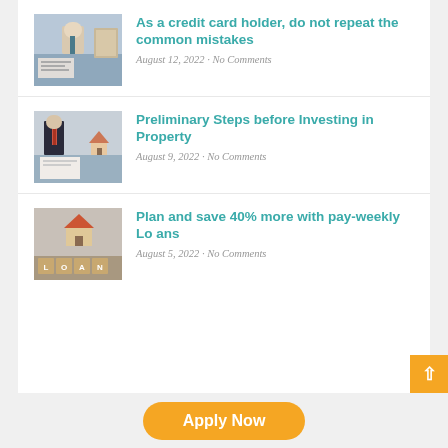[Figure (photo): Man in suit writing at a desk with documents and files]
As a credit card holder, do not repeat the common mistakes
August 12, 2022 · No Comments
[Figure (photo): Man in suit writing with a small house model on a desk]
Preliminary Steps before Investing in Property
August 9, 2022 · No Comments
[Figure (photo): Wooden blocks spelling LOAN with a small house model]
Plan and save 40% more with pay-weekly Loans
August 5, 2022 · No Comments